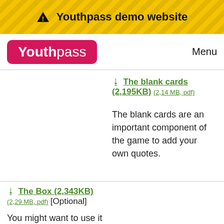⚠ Youthpass demo website
[Figure (logo): Youthpass logo - red rounded rectangle with white text]
Menu
The blank cards (2,195KB) (2,14 MB, pdf)
The blank cards are an important component of the game to add your own quotes.
The Box (2,343KB) (2,29 MB, pdf) [Optional]
You might want to use it